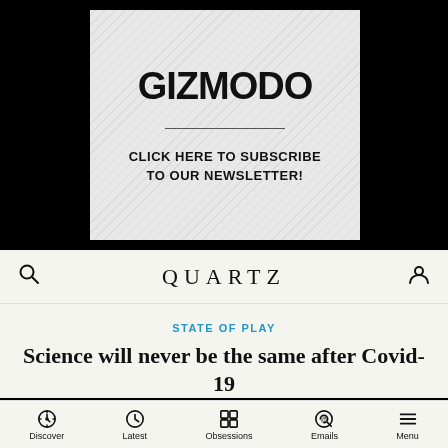[Figure (screenshot): Gizmodo advertisement banner with diagonal stripe background pattern, showing the Gizmodo logo in bold black text, a horizontal divider line, and text reading 'CLICK HERE TO SUBSCRIBE TO OUR NEWSLETTER!']
QUARTZ
STATE OF PLAY
Science will never be the same after Covid-19
Discover  Latest  Obsessions  Emails  Menu